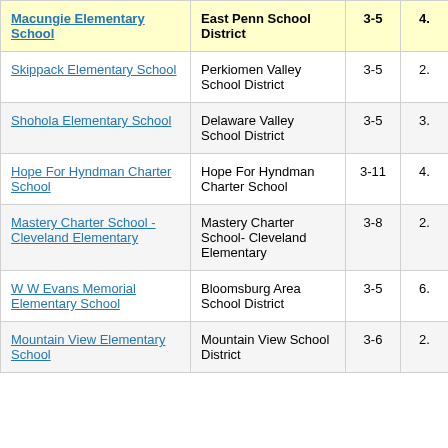| School | District | Grades | ... |
| --- | --- | --- | --- |
| Macungie Elementary School | East Penn School District | 3-5 | 4. |
| Skippack Elementary School | Perkiomen Valley School District | 3-5 | 2. |
| Shohola Elementary School | Delaware Valley School District | 3-5 | 3. |
| Hope For Hyndman Charter School | Hope For Hyndman Charter School | 3-11 | 4. |
| Mastery Charter School - Cleveland Elementary | Mastery Charter School- Cleveland Elementary | 3-8 | 2. |
| W W Evans Memorial Elementary School | Bloomsburg Area School District | 3-5 | 6. |
| Mountain View Elementary School | Mountain View School District | 3-6 | 2. |